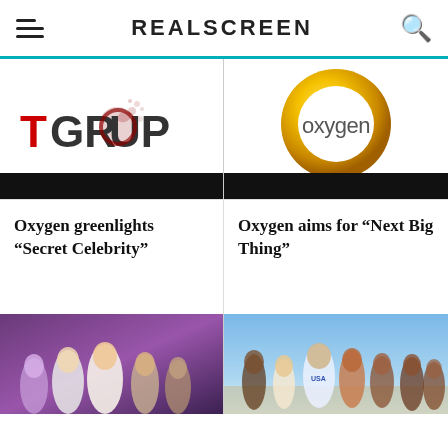REALSCREEN
[Figure (logo): TGROUP logo with red/dark lettering and splatter graphic]
[Figure (logo): Oxygen network logo — golden circular ring with 'oxygen' text in center]
Oxygen greenlights “Secret Celebrity”
Oxygen aims for “Next Big Thing”
[Figure (photo): Group of women in fashionable outfits posing on purple background]
[Figure (photo): Family group posing on beach, man wearing USA shirt]